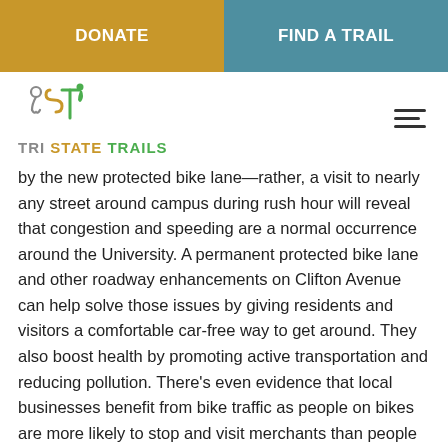DONATE | FIND A TRAIL
[Figure (logo): Tri State Trails logo with stylized TST mark and green/gold/gray text]
by the new protected bike lane—rather, a visit to nearly any street around campus during rush hour will reveal that congestion and speeding are a normal occurrence around the University. A permanent protected bike lane and other roadway enhancements on Clifton Avenue can help solve those issues by giving residents and visitors a comfortable car-free way to get around. They also boost health by promoting active transportation and reducing pollution. There's even evidence that local businesses benefit from bike traffic as people on bikes are more likely to stop and visit merchants than people in cars.
The pilot period has uncovered ways we can improve the